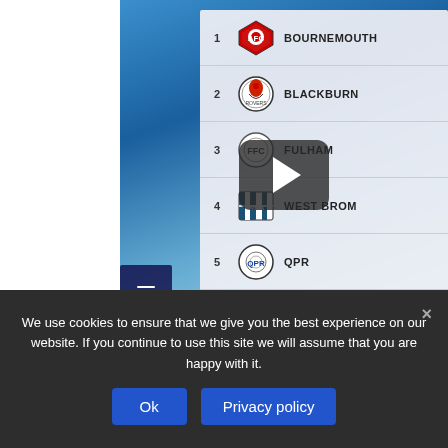[Figure (screenshot): Screenshot of a football league table showing positions 1-5: 1. Bournemouth, 2. Blackburn, 3. Fulham, 4. West Brom, 5. QPR. Each row shows a position number, club crest/logo, and club name. A video play button overlay is visible in the center of the image.]
We use cookies to ensure that we give you the best experience on our website. If you continue to use this site we will assume that you are happy with it.